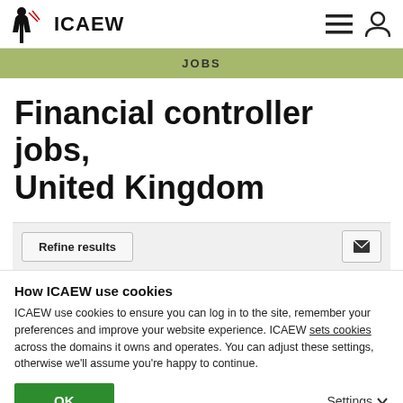ICAEW
JOBS
Financial controller jobs, United Kingdom
Refine results
How ICAEW use cookies
ICAEW use cookies to ensure you can log in to the site, remember your preferences and improve your website experience. ICAEW sets cookies across the domains it owns and operates. You can adjust these settings, otherwise we'll assume you're happy to continue.
OK
Settings